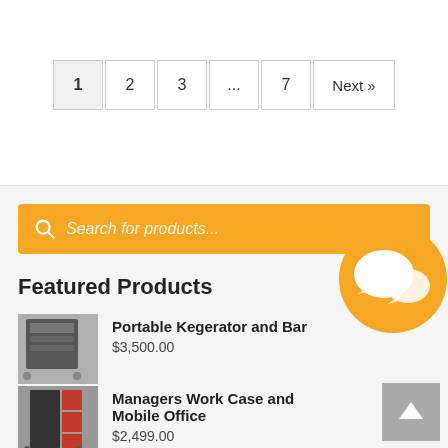1  2  3  ...  7  Next »
Search for products...
Featured Products
Portable Kegerator and Bar
$3,500.00
Managers Work Case and Mobile Office
$2,499.00